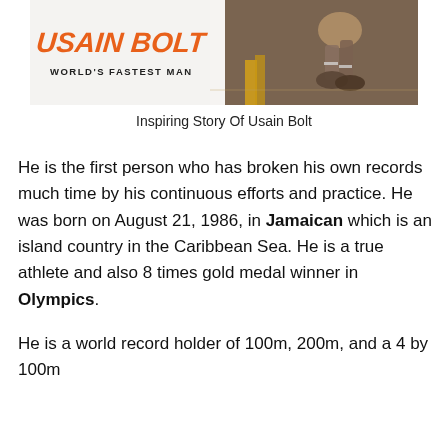[Figure (illustration): Book cover of 'Usain Bolt – World's Fastest Man' showing large orange italic text 'USAIN BOLT' on a white panel on the left, with subtitle 'WORLD'S FASTEST MAN' in bold black below, and a photo of a runner's feet/legs on an asphalt road with a yellow line on the right side.]
Inspiring Story Of Usain Bolt
He is the first person who has broken his own records much time by his continuous efforts and practice. He was born on August 21, 1986, in Jamaican which is an island country in the Caribbean Sea. He is a true athlete and also 8 times gold medal winner in Olympics.
He is a world record holder of 100m, 200m, and a 4 by 100m